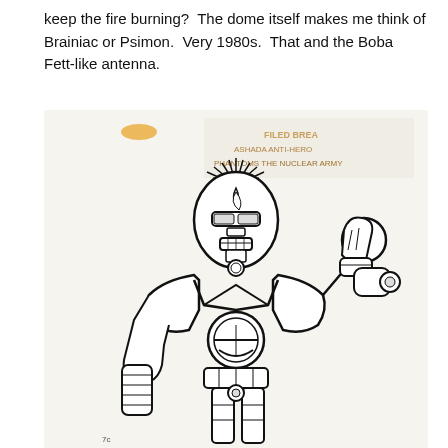keep the fire burning?  The dome itself makes me think of Brainiac or Psimon.  Very 1980s.  That and the Boba Fett-like antenna.
[Figure (illustration): Black and white ink drawing of a robotic superhero/villain character in 1980s comic book style. The figure has a domed head with a flame motif, spiky hair/energy emanating from the top, visor eyes, a circular emblem on the chest, armored shoulders, mechanical arms with cylindrical extensions, and is shown from roughly the waist up in a dynamic pose with one hand raised.]